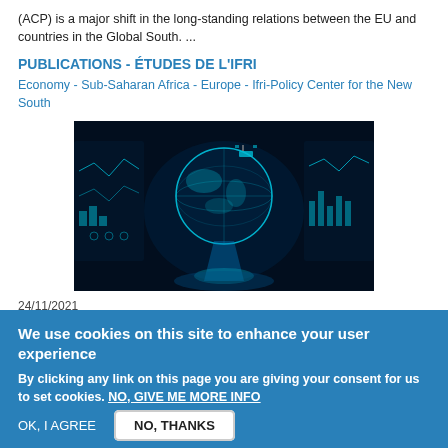(ACP) is a major shift in the long-standing relations between the EU and countries in the Global South. ...
PUBLICATIONS - ÉTUDES DE L'IFRI
Economy - Sub-Saharan Africa - Europe - Ifri-Policy Center for the New South
[Figure (photo): Dark digital globe visualization with glowing blue holographic data displays and satellite, technology/defense themed image]
24/11/2021
Le cloud défense : défi opérationnel, impératif stratégique et enjeu de souveraineté
We use cookies on this site to enhance your user experience
By clicking any link on this page you are giving your consent for us to set cookies. NO, GIVE ME MORE INFO
OK, I AGREE
NO, THANKS